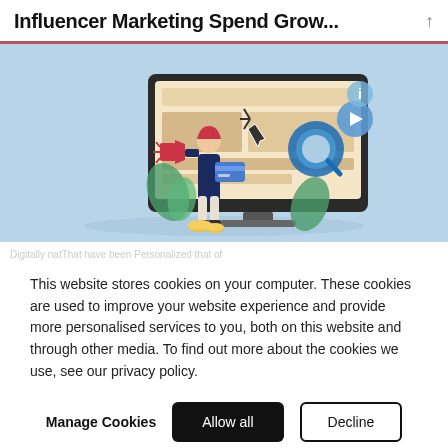Influencer Marketing Spend Grow...
[Figure (illustration): Flat-style illustration on a light blue background showing a person standing in front of a large computer monitor. The monitor displays a webpage with a cursor clicking on it. A magnifying glass icon and a play button icon are visible alongside the monitor. The person holds a megaphone. Decorative plants and coins are in the background.]
This website stores cookies on your computer. These cookies are used to improve your website experience and provide more personalised services to you, both on this website and through other media. To find out more about the cookies we use, see our privacy policy.
Manage Cookies   Allow all   Decline